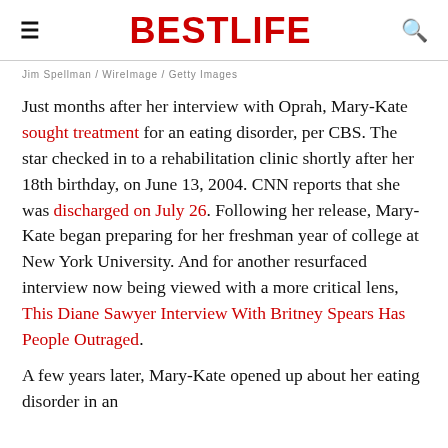BestLife
Jim Spellman / WireImage / Getty Images
Just months after her interview with Oprah, Mary-Kate sought treatment for an eating disorder, per CBS. The star checked in to a rehabilitation clinic shortly after her 18th birthday, on June 13, 2004. CNN reports that she was discharged on July 26. Following her release, Mary-Kate began preparing for her freshman year of college at New York University. And for another resurfaced interview now being viewed with a more critical lens, This Diane Sawyer Interview With Britney Spears Has People Outraged.
A few years later, Mary-Kate opened up about her eating disorder in an